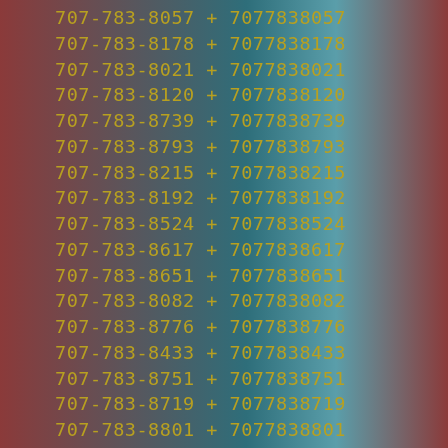707-783-8057 + 7077838057
707-783-8178 + 7077838178
707-783-8021 + 7077838021
707-783-8120 + 7077838120
707-783-8739 + 7077838739
707-783-8793 + 7077838793
707-783-8215 + 7077838215
707-783-8192 + 7077838192
707-783-8524 + 7077838524
707-783-8617 + 7077838617
707-783-8651 + 7077838651
707-783-8082 + 7077838082
707-783-8776 + 7077838776
707-783-8433 + 7077838433
707-783-8751 + 7077838751
707-783-8719 + 7077838719
707-783-8801 + 7077838801
707-783-8763 + 7077838763
707-783-8295 + 7077838295
707-783-8067 + 7077838067
707-783-8501 + 7077838501
707-783-8972 + 7077838972